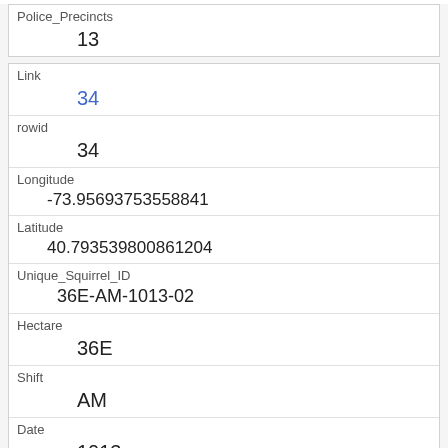| Field | Value |
| --- | --- |
| Police_Precincts | 13 |
| Link | 34 |
| rowid | 34 |
| Longitude | -73.95693753558841 |
| Latitude | 40.793539800861204 |
| Unique_Squirrel_ID | 36E-AM-1013-02 |
| Hectare | 36E |
| Shift | AM |
| Date | 1013 |
| Hectare_Squirrel_Number | 2 |